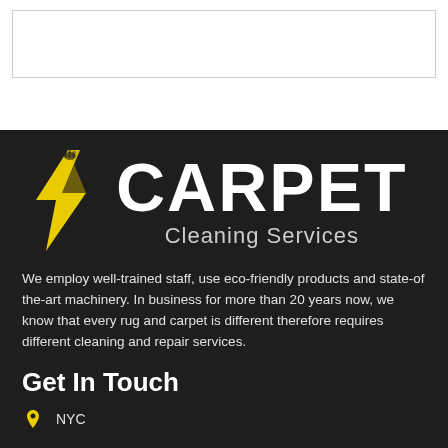[Figure (logo): Carpet Cleaning Services logo with yellow lightning bolt and hand icon on dark background]
We employ well-trained staff, use eco-friendly products and state-of the-art machinery. In business for more than 20 years now, we know that every rug and carpet is different therefore requires different cleaning and repair services.
Get In Touch
NYC